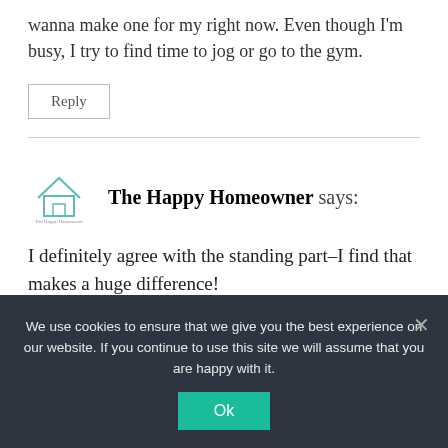wanna make one for my right now. Even though I'm busy, I try to find time to jog or go to the gym.
Reply
The Happy Homeowner says:
I definitely agree with the standing part–I find that makes a huge difference!
We use cookies to ensure that we give you the best experience on our website. If you continue to use this site we will assume that you are happy with it.
Ok